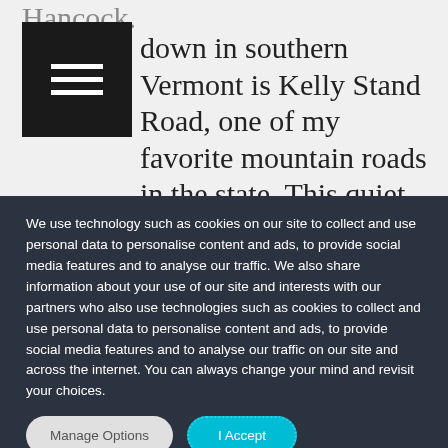Hancock. …down in southern Vermont is Kelly Stand Road, one of my favorite mountain roads in the state. This quiet dirt road starts in West Wardsboro and rises to meet the Appalachian
We use technology such as cookies on our site to collect and use personal data to personalise content and ads, to provide social media features and to analyse our traffic. We also share information about your use of our site and interests with our partners who also use technologies such as cookies to collect and use personal data to personalise content and ads, to provide social media features and to analyse our traffic on our site and across the internet. You can always change your mind and revisit your choices.